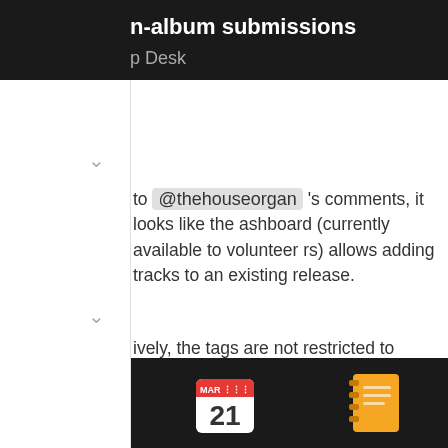n-album submissions — p Desk
to @thehouseorgan 's comments, it looks like the ashboard (currently available to volunteer rs) allows adding tracks to an existing release.
ively, the tags are not restricted to genres. So you se a unique tag like #rosanosongeveryx days to help s find all those tracks if they were uploaded as or multiple EPs.
1 (like) (link)
boopboop — Jan 25 — 5 / 11
App icons: music, calendar (MAR 21), notebook